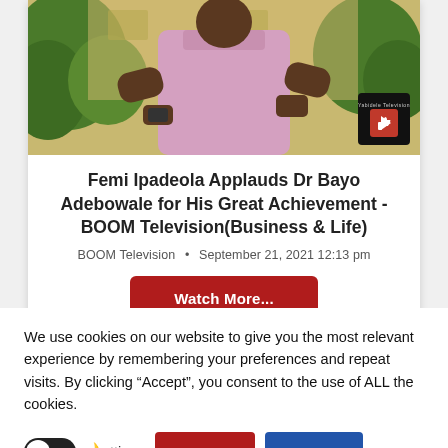[Figure (screenshot): Thumbnail image of a man in a pink shirt holding a phone, with a TV logo overlay in bottom right corner]
Femi Ipadeola Applauds Dr Bayo Adebowale for His Great Achievement -BOOM Television(Business & Life)
BOOM Television • September 21, 2021 12:13 pm
Watch More...
We use cookies on our website to give you the most relevant experience by remembering your preferences and repeat visits. By clicking “Accept”, you consent to the use of ALL the cookies.
Cookie Settings  ACCEPT  REJECT